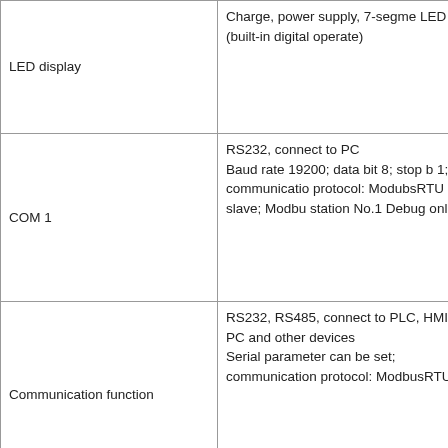| Feature | Description |
| --- | --- |
| LED display | Charge, power supply, 7-segment LED ×5 (built-in digital operate) |
| COM 1 | RS232, connect to PC
Baud rate 19200; data bit 8; stop bit 1; communication protocol: ModubsRTU slave; Modbus station No.1 Debug online |
| Communication function | RS232, RS485, connect to PLC, HMI, PC and other devices
Serial parameters can be set; communication protocol: ModbusRTU |